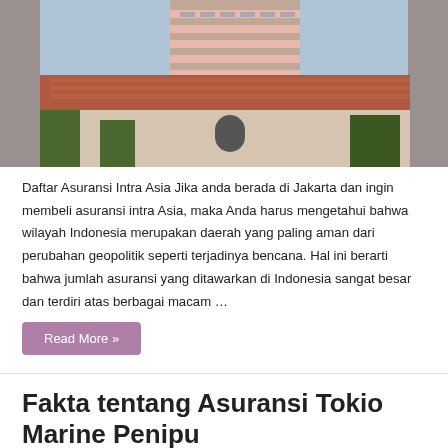[Figure (photo): Urban building with tiled roof in foreground and modern high-rise building in background, visible through pillars]
Daftar Asuransi Intra Asia Jika anda berada di Jakarta dan ingin membeli asuransi intra Asia, maka Anda harus mengetahui bahwa wilayah Indonesia merupakan daerah yang paling aman dari perubahan geopolitik seperti terjadinya bencana. Hal ini berarti bahwa jumlah asuransi yang ditawarkan di Indonesia sangat besar dan terdiri atas berbagai macam …
Read More »
Fakta tentang Asuransi Tokio Marine Penipu
[Figure (photo): Landscape photo with green trees and cloudy sky]